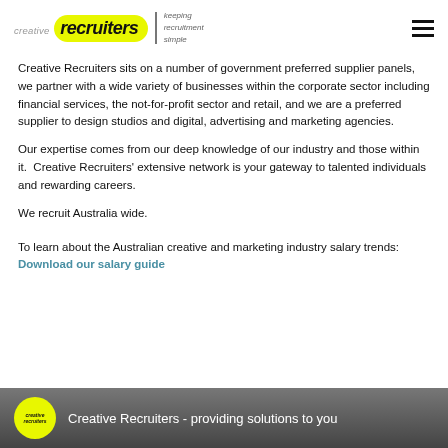creative recruiters — keeping recruitment simple
Creative Recruiters sits on a number of government preferred supplier panels, we partner with a wide variety of businesses within the corporate sector including financial services, the not-for-profit sector and retail, and we are a preferred supplier to design studios and digital, advertising and marketing agencies.
Our expertise comes from our deep knowledge of our industry and those within it.  Creative Recruiters' extensive network is your gateway to talented individuals and rewarding careers.
We recruit Australia wide.
To learn about the Australian creative and marketing industry salary trends: Download our salary guide
[Figure (screenshot): Video thumbnail showing Creative Recruiters logo on yellow circle against grey gradient background with text 'Creative Recruiters - providing solutions to you']